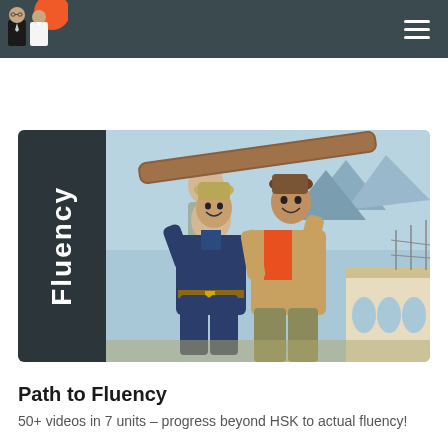Fluency (navigation header with logo and menu)
[Figure (illustration): Chinese socialist realist painting showing two smiling young workers carrying a large log on their shoulders, with a bridge under construction and mountains in the background. The left side has a dark panel with the word 'Fluency' written vertically in white bold text.]
Path to Fluency
50+ videos in 7 units – progress beyond HSK to actual fluency!